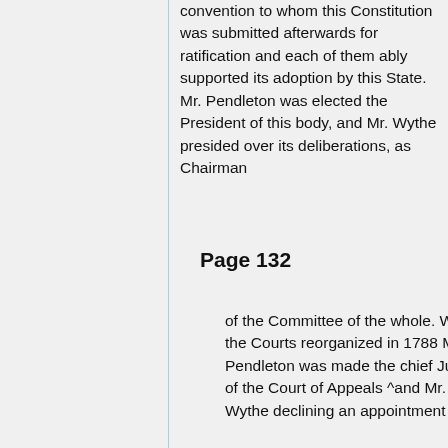convention to whom this Constitution was submitted afterwards for ratification and each of them ably supported its adoption by this State. Mr. Pendleton was elected the President of this body, and Mr. Wythe presided over its deliberations, as Chairman
Page 132
of the Committee of the whole. When the Courts reorganized in 1788 Mr. Pendleton was made the chief Justice of the Court of Appeals ^and Mr. Wythe declining an appointment to